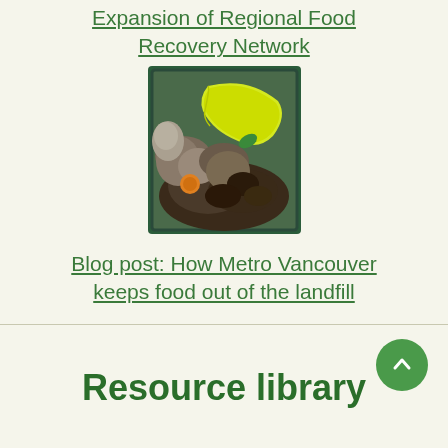Expansion of Regional Food Recovery Network
[Figure (photo): A container filled with food waste including a yellow banana, mushrooms, and other organic food scraps]
Blog post: How Metro Vancouver keeps food out of the landfill
Resource library